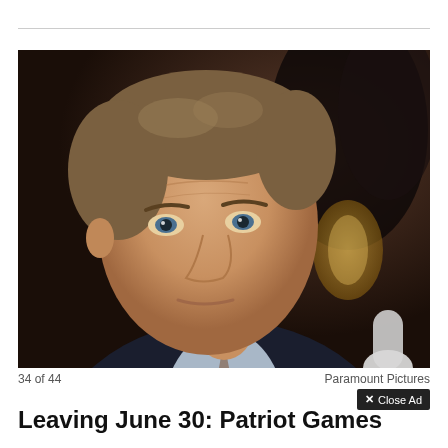[Figure (photo): Close-up photograph of a middle-aged man with brown hair wearing a dark navy pinstripe suit and light blue shirt with a tie, seated at what appears to be a hearing table with a microphone visible in the lower right. The background is blurred with dark figures and a golden object.]
34 of 44
Paramount Pictures
✕ Close Ad
Leaving June 30: Patriot Games